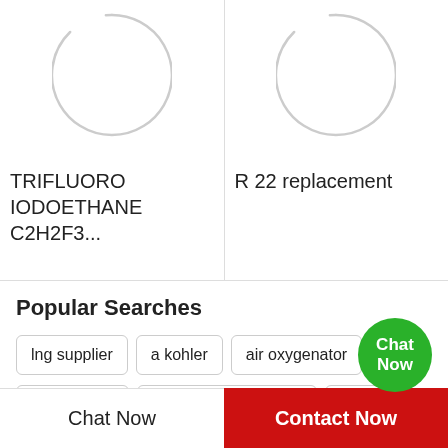[Figure (illustration): Circular product placeholder icon for TRIFLUORO IODOETHANE C2H2F3... — gray outline circle on white background]
TRIFLUORO IODOETHANE C2H2F3...
[Figure (illustration): Circular product placeholder icon for R 22 replacement — gray outline circle on white background]
R 22 replacement
Popular Searches
lng supplier
a kohler
air oxygenator
aire oxygen
adsorbed natural gas
gas lng
Chat Now
Contact Now